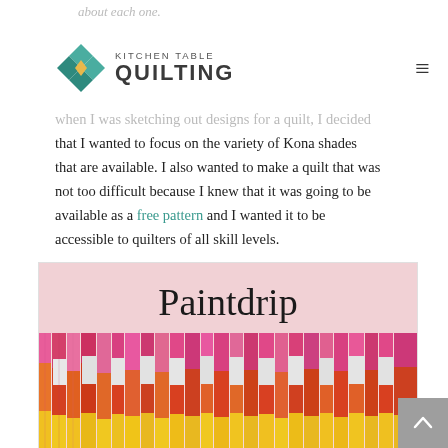about each one.
[Figure (logo): Kitchen Table Quilting logo with geometric diamond/square icon in teal and gold, and text 'KITCHEN TABLE QUILTING']
when I was sketching out designs for a quilt, I decided that I wanted to focus on the variety of Kona shades that are available. I also wanted to make a quilt that was not too difficult because I knew that it was going to be available as a free pattern and I wanted it to be accessible to quilters of all skill levels.
[Figure (photo): Paintdrip quilt showing vertical strips of fabric in gradient colors from pink/magenta at top through orange and red in middle to yellow at bottom, with white rectangle accents creating a dripping paint effect. Title 'Paintdrip' overlaid on top portion.]